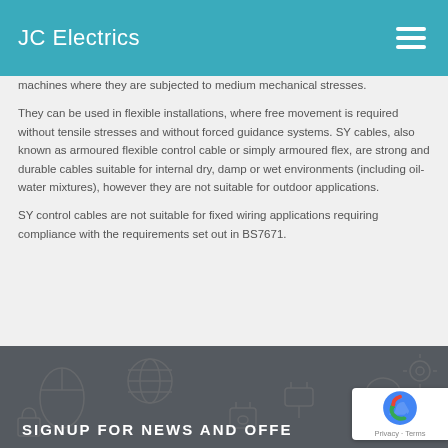JC Electrics
machines where they are subjected to medium mechanical stresses.
They can be used in flexible installations, where free movement is required without tensile stresses and without forced guidance systems. SY cables, also known as armoured flexible control cable or simply armoured flex, are strong and durable cables suitable for internal dry, damp or wet environments (including oil-water mixtures), however they are not suitable for outdoor applications.
SY control cables are not suitable for fixed wiring applications requiring compliance with the requirements set out in BS7671.
SIGNUP FOR NEWS AND OFFE